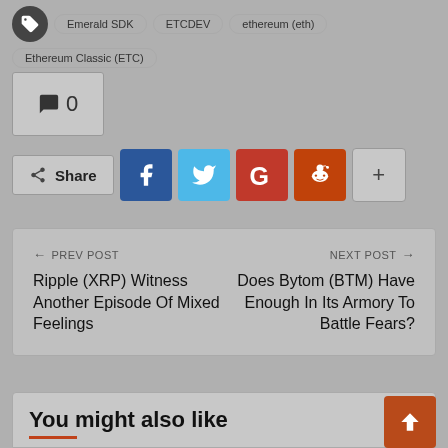Emerald SDK
ETCDEV
ethereum (eth)
Ethereum Classic (ETC)
💬 0
Share
← PREV POST
Ripple (XRP) Witness Another Episode Of Mixed Feelings
NEXT POST →
Does Bytom (BTM) Have Enough In Its Armory To Battle Fears?
You might also like